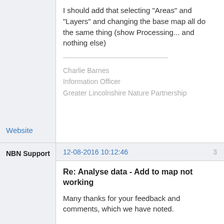I should add that selecting "Areas" and "Layers" and changing the base map all do the same thing (show Processing... and nothing else)
Charlie Barnes
Information Officer
Greater Lincolnshire Nature Partnership
Website
NBN Support
12-08-2016 10:12:46
3
Re: Analyse data - Add to map not working
Many thanks for your feedback and comments, which we have noted.